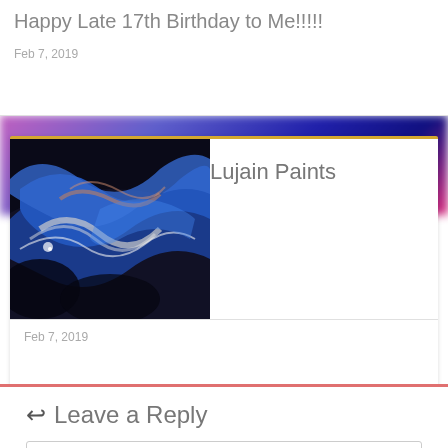Happy Late 17th Birthday to Me!!!!!
Feb 7, 2019
[Figure (photo): Abstract fluid art painting with blue, black, grey, and metallic swirl patterns]
Lujain Paints
Feb 7, 2019
Leave a Reply